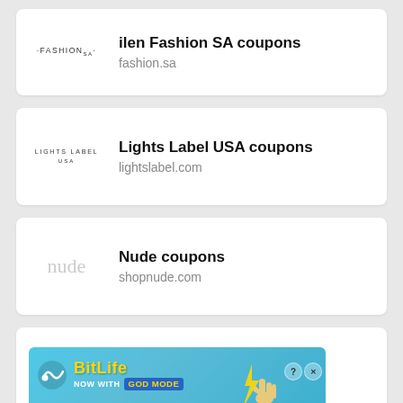ilen Fashion SA coupons — fashion.sa
Lights Label USA coupons — lightslabel.com
Nude coupons — shopnude.com
Palones Official coupons — palonesofficial.com
[Figure (screenshot): BitLife advertisement banner: 'NOW WITH GOD MODE' on a blue background with a pointing hand graphic and close/help buttons]